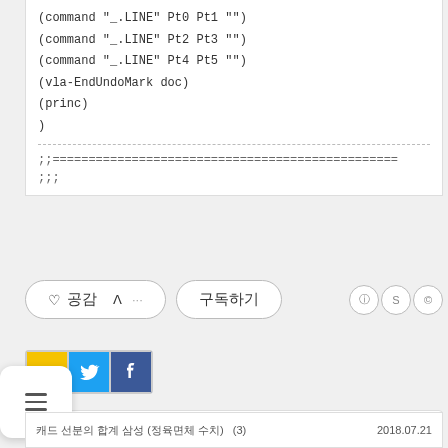(command "_.LINE" Pt0 Pt1 "")
(command "_.LINE" Pt2 Pt3 "")
(command "_.LINE" Pt4 Pt5 "")
(vla-EndUndoMark doc)
(princ)
)
;;===============================
;;;
♡ 공감  ᐱ ···  구독하기
[Figure (infographic): Social share buttons: Kakao Story (yellow), Twitter (blue bird), Facebook (blue f)]
'CAD > Tip' 카테고리의 다른 글
2018.07.21